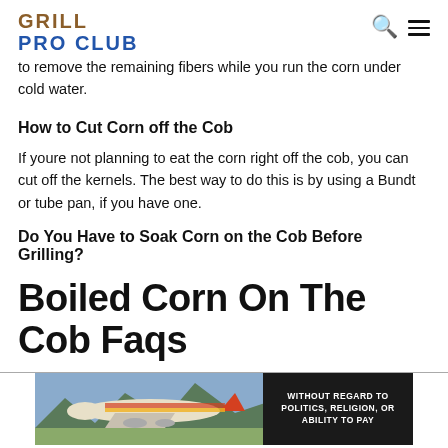GRILL PRO CLUB
to remove the remaining fibers while you run the corn under cold water.
How to Cut Corn off the Cob
If youre not planning to eat the corn right off the cob, you can cut off the kernels. The best way to do this is by using a Bundt or tube pan, if you have one.
Do You Have to Soak Corn on the Cob Before Grilling?
Boiled Corn On The Cob Faqs
[Figure (photo): Advertisement banner showing an airplane being loaded with cargo, with overlay text WITHOUT REGARD TO POLITICS, RELIGION, OR ABILITY TO PAY]